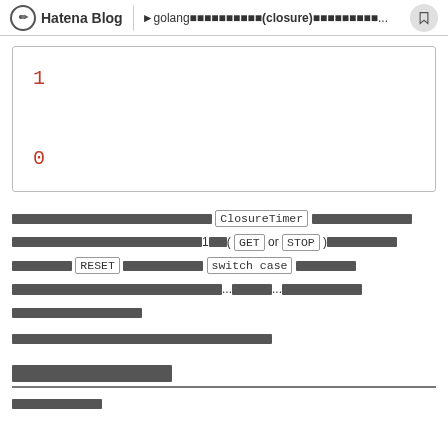Hatena Blog | golang（closure）...
[Figure (screenshot): Code block showing two lines: '1' and '0' in red monospace font on white background with border]
ClosureTimer GET or STOP RESET switch case ...
[Japanese text section header]
[Japanese text]